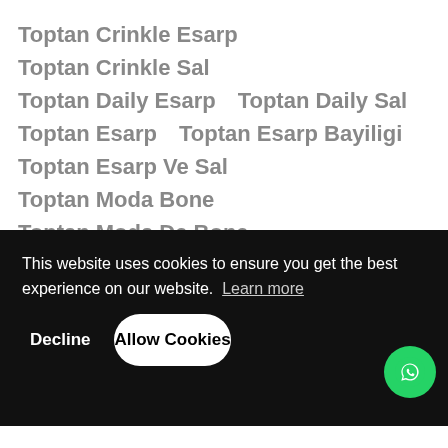Toptan Crinkle Esarp   Toptan Crinkle Sal
Toptan Daily Esarp   Toptan Daily Sal
Toptan Esarp   Toptan Esarp Bayiligi
Toptan Esarp Ve Sal   Toptan Moda Bone
Toptan Moda De Bone
Toptan Pamina Esarp
Toptan Pasmina Esarp   Toptan Pasmina Sal
Toptan Sal   Toptan Satis Esarp
This website uses cookies to ensure you get the best experience on our website. Learn more
Decline   Allow Cookies